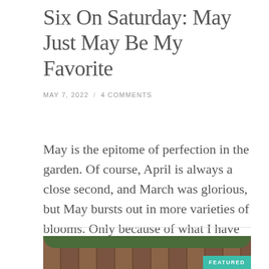Six On Saturday: May Just May Be My Favorite
MAY 7, 2022 / 4 COMMENTS
May is the epitome of perfection in the garden. Of course, April is always a close second, and March was glorious, but May bursts out in more varieties of blooms. Only because of what I have planted over the years in my yard, May is my favorite month. But that's today. Ask me again in … Continue reading
[Figure (photo): Outdoor garden photo showing a wooden fence with greenery and foliage, with a teal FEATURED badge in the bottom right corner]